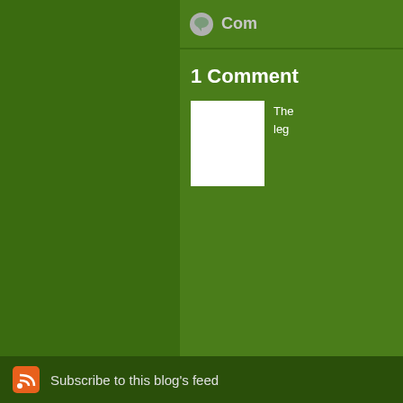Com...
1 Comment
[Figure (photo): White square avatar/placeholder image for commenter]
The... leg...
The comments to t...
P...
Arizona's media v... on this scandal Po... previously posted a...
Subscribe to this blog's feed